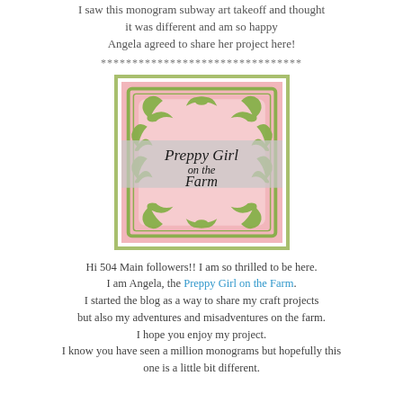I saw this monogram subway art takeoff and thought it was different and am so happy Angela agreed to share her project here!
********************************
[Figure (logo): Blog logo for 'Preppy Girl on the Farm' — a square image with a pink background, decorative green ornamental scrollwork border, and a grey banner in the center with cursive text reading 'Preppy Girl on the Farm'. The whole image is framed with a green border.]
Hi 504 Main followers!! I am so thrilled to be here. I am Angela, the Preppy Girl on the Farm. I started the blog as a way to share my craft projects but also my adventures and misadventures on the farm. I hope you enjoy my project. I know you have seen a million monograms but hopefully this one is a little bit different.